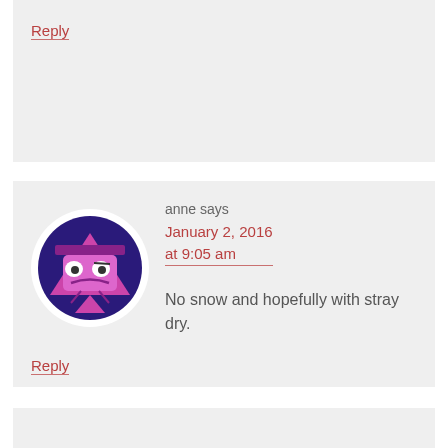Reply
[Figure (illustration): Cartoon avatar of a sad pink triangle-shaped character with a face, on a dark purple circular background]
anne says January 2, 2016 at 9:05 am
No snow and hopefully with stray dry.
Reply